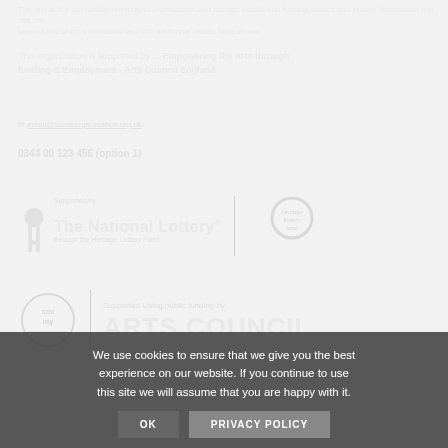The text at top of page referring to organization details and funding
This organization is supported by ... Empowering the Arts through funding & Employment - Arts Council England
email address line
Supported by The National Lottery® through the Heritage Lottery Fund
[Figure (logo): The National Lottery logo with Heritage Lottery Fund logo]
[Figure (logo): Arts Council logo with text: Supported Using public funding by Arts Council]
We use cookies to ensure that we give you the best experience on our website. If you continue to use this site we will assume that you are happy with it.
OK | PRIVACY POLICY